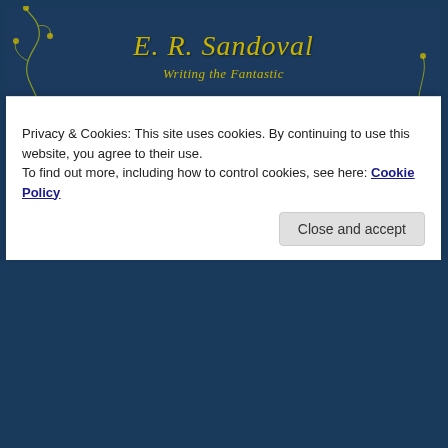[Figure (illustration): Website header banner with dark navy background, decorative golden vine/flower illustration on left side, cursive gold text 'E. R. Sandoval' and italic subtitle 'Writing the Fantastic']
Home   About   My Writing
TAG ARCHIVES: WOGF
← Older posts    Newer posts →
Privacy & Cookies: This site uses cookies. By continuing to use this website, you agree to their use.
To find out more, including how to control cookies, see here: Cookie Policy
Close and accept